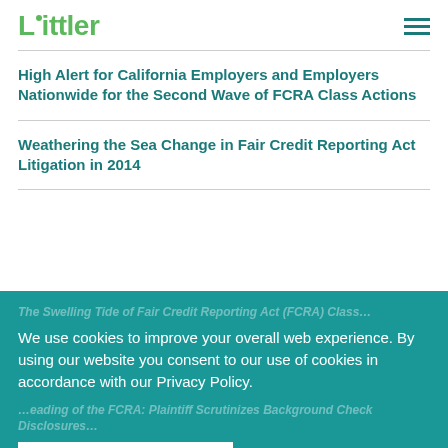Littler
High Alert for California Employers and Employers Nationwide for the Second Wave of FCRA Class Actions
Weathering the Sea Change in Fair Credit Reporting Act Litigation in 2014
We use cookies to improve your overall web experience. By using our website you consent to our use of cookies in accordance with our Privacy Policy.
VIEW PRIVACY POLICY
I AGREE